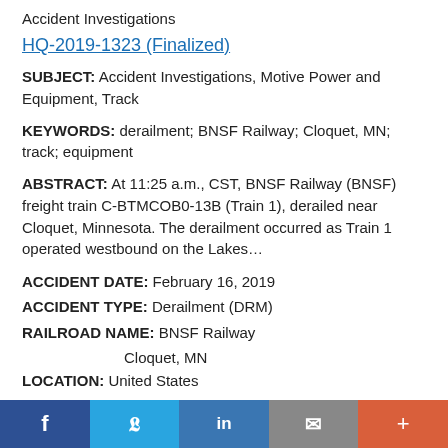Accident Investigations
HQ-2019-1323 (Finalized)
SUBJECT: Accident Investigations, Motive Power and Equipment, Track
KEYWORDS: derailment; BNSF Railway; Cloquet, MN; track; equipment
ABSTRACT: At 11:25 a.m., CST, BNSF Railway (BNSF) freight train C-BTMCOB0-13B (Train 1), derailed near Cloquet, Minnesota. The derailment occurred as Train 1 operated westbound on the Lakes…
ACCIDENT DATE: February 16, 2019
ACCIDENT TYPE: Derailment (DRM)
RAILROAD NAME: BNSF Railway
Cloquet, MN
LOCATION: United States